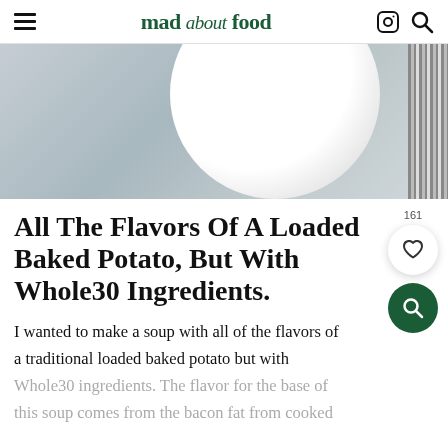mad about food
[Figure (photo): Close-up photo of a white bowl on a light grey textured surface, with a striped linen towel on the right edge]
All The Flavors Of A Loaded Baked Potato, But With Whole30 Ingredients.
I wanted to make a soup with all of the flavors of a traditional loaded baked potato but with Whole30 ingredients. The flavor for the base of this soup comes from the bacon fat from cooked